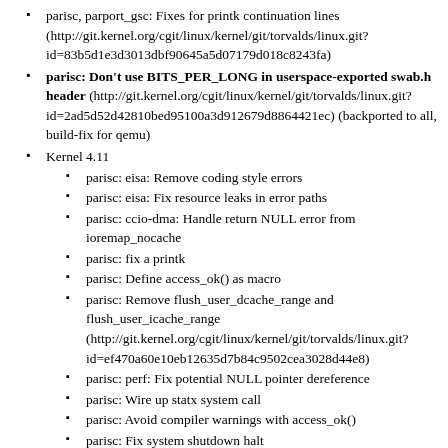parisc, parport_gsc: Fixes for printk continuation lines (http://git.kernel.org/cgit/linux/kernel/git/torvalds/linux.git?id=83b5d1e3d3013dbf90645a5d07179d018c8243fa)
parisc: Don't use BITS_PER_LONG in userspace-exported swab.h header (http://git.kernel.org/cgit/linux/kernel/git/torvalds/linux.git?id=2ad5d52d42810bed95100a3d912679d8864421ec) (backported to all, build-fix for qemu)
Kernel 4.11
parisc: eisa: Remove coding style errors
parisc: eisa: Fix resource leaks in error paths
parisc: ccio-dma: Handle return NULL error from ioremap_nocache
parisc: fix a printk
parisc: Define access_ok() as macro
parisc: Remove flush_user_dcache_range and flush_user_icache_range (http://git.kernel.org/cgit/linux/kernel/git/torvalds/linux.git?id=ef470a60e10eb12635d7b84c9502cea3028d44e8)
parisc: perf: Fix potential NULL pointer dereference
parisc: Wire up statx system call
parisc: Avoid compiler warnings with access_ok()
parisc: Fix system shutdown halt (http://git.kernel.org/pub/scm/linux/kernel/git/torvalds/linux.git?id=73580dac7618e4bcd21679f553cf3c97323fec46)